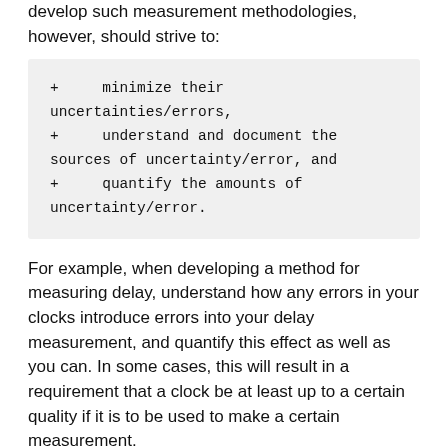develop such measurement methodologies, however, should strive to:
+ minimize their uncertainties/errors,
+ understand and document the sources of uncertainty/error, and
+ quantify the amounts of uncertainty/error.
For example, when developing a method for measuring delay, understand how any errors in your clocks introduce errors into your delay measurement, and quantify this effect as well as you can. In some cases, this will result in a requirement that a clock be at least up to a certain quality if it is to be used to make a certain measurement.
As a second example, consider the timing error due to measurement overheads within the computer making the measurement, as opposed to delays due to the Internet component being measured. The former is a measurement error while the latter reflects the metric of interest. Note that